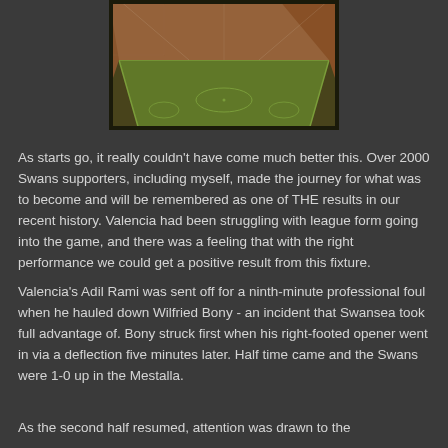[Figure (photo): Aerial view of a football stadium (the Mestalla) with green pitch, stands filled with spectators, floodlights, warm orange tone.]
As starts go, it really couldn't have come much better this. Over 2000 Swans supporters, including myself, made the journey for what was to become and will be remembered as one of THE results in our recent history. Valencia had been struggling with league form going into the game, and there was a feeling that with the right performance we could get a positive result from this fixture.
Valencia's Adil Rami was sent off for a ninth-minute professional foul when he hauled down Wilfried Bony - an incident that Swansea took full advantage of. Bony struck first when his right-footed opener went in via a deflection five minutes later. Half time came and the Swans were 1-0 up in the Mestalla.
As the second half resumed, attention was drawn to the